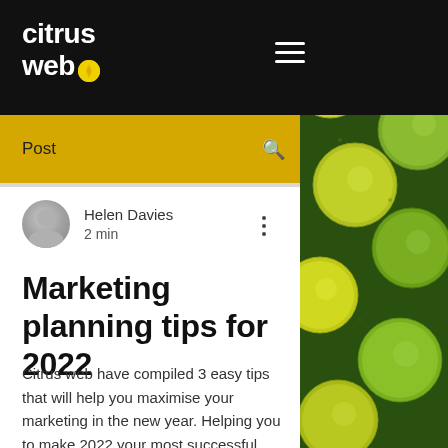citrus web
Post
Helen Davies
2 min
Marketing planning tips for 2022
Citrus web have compiled 3 easy tips that will help you maximise your marketing in the new year. Helping you to make 2022 your most successful year ever!
[Figure (photo): Close-up photo of green limes and yellow lemons on the right side of the page]